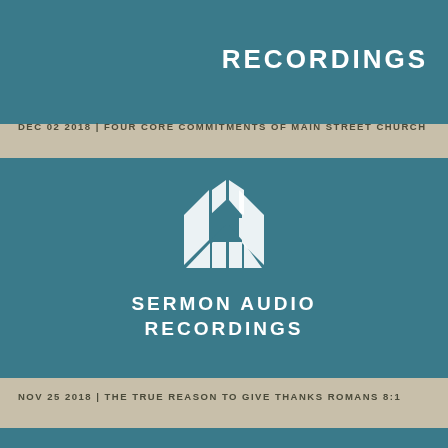[Figure (logo): Sermon Audio Recordings logo card (top, partially visible) with teal background and white text: RECORDINGS]
DEC 02 2018 | FOUR CORE COMMITMENTS OF MAIN STREET CHURCH
[Figure (logo): Sermon Audio Recordings logo card with teal background, geometric white logo mark, and white text: SERMON AUDIO RECORDINGS]
NOV 25 2018 | THE TRUE REASON TO GIVE THANKS ROMANS 8:1
[Figure (logo): Third teal card (bottom, partially visible)]